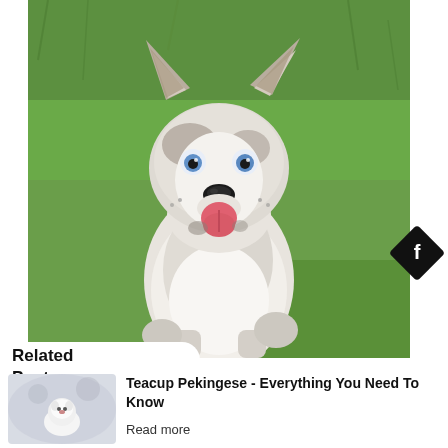[Figure (photo): A white and grey Border Collie dog with blue eyes and tongue out, sitting on green grass, looking at the camera. The dog has pointed ears with brown tips and fluffy fur.]
Related
Post
[Figure (photo): Small thumbnail of a Teacup Pekingese dog, white fluffy, sitting in a snowy or blurred white background.]
Teacup Pekingese - Everything You Need To Know
Read more